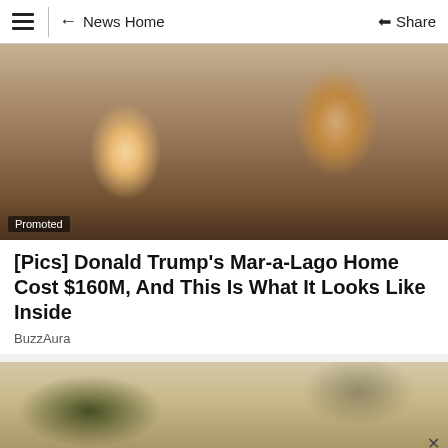News Home | Share
[Figure (photo): Close-up photo of a blonde woman and a man in a suit and red tie, partially cropped. 'Promoted' badge in bottom-left corner.]
[Pics] Donald Trump's Mar-a-Lago Home Cost $160M, And This Is What It Looks Like Inside
BuzzAura
[Figure (photo): Exterior photo of a tan/beige house with siding and a pitched roof, with trees visible. An 'x' close button is in the bottom-right corner.]
Ad